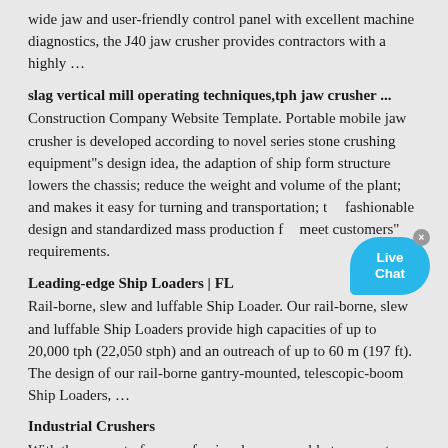wide jaw and user-friendly control panel with excellent machine diagnostics, the J40 jaw crusher provides contractors with a highly …
slag vertical mill operating techniques,tph jaw crusher ...
Construction Company Website Template. Portable mobile jaw crusher is developed according to novel series stone crushing equipment"s design idea, the adaption of ship form structure lowers the chassis; reduce the weight and volume of the plant; and makes it easy for turning and transportation; the fashionable design and standardized mass production for meet customers" requirements.
Leading-edge Ship Loaders | FL
Rail-borne, slew and luffable Ship Loader. Our rail-borne, slew and luffable Ship Loaders provide high capacities of up to 20,000 tph (22,050 stph) and an outreach of up to 60 m (197 ft). The design of our rail-borne gantry-mounted, telescopic-boom Ship Loaders, …
Industrial Crushers
With the support of our professionals, we are able to present quality assured array of Hammer Crusher that is widely used for crushing different materials such as plastic, minerals, spices, metal ores etc. Further, while manufacturing this hammer crusher, …